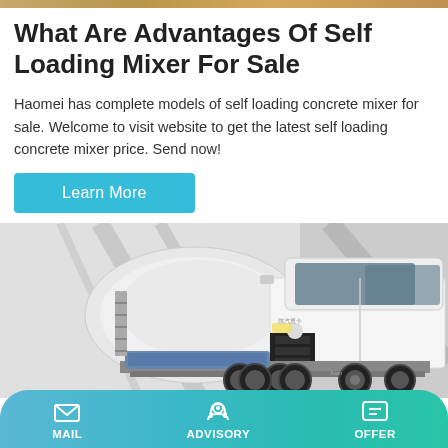[Figure (photo): Top decorative banner image showing sandy/earthy background]
What Are Advantages Of Self Loading Mixer For Sale
Haomei has complete models of self loading concrete mixer for sale. Welcome to visit website to get the latest self loading concrete mixer price. Send now!
[Figure (other): Learn More button - cyan/teal colored button]
[Figure (photo): Photo of a white self-loading concrete mixer truck with a rotating drum, parked in a warehouse or showroom setting]
MAIL   ADVISORY   OFFER